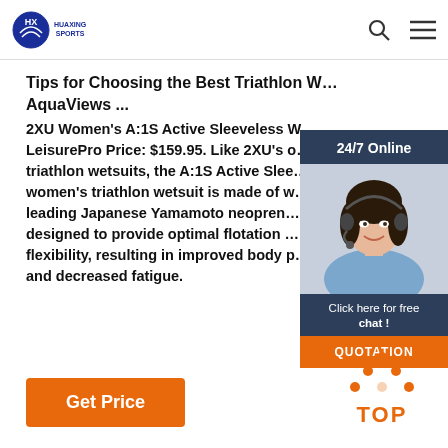HUAXING SPORTS
Tips for Choosing the Best Triathlon W… AquaViews ...
2XU Women's A:1S Active Sleeveless W… LeisurePro Price: $159.95. Like 2XU's o… triathlon wetsuits, the A:1S Active Slee… women's triathlon wetsuit is made of w… leading Japanese Yamamoto neopren… designed to provide optimal flotation … flexibility, resulting in improved body p… and decreased fatigue.
[Figure (other): 24/7 online chat widget with a woman wearing a headset, with 'Click here for free chat!' text and QUOTATION button]
Get Price
[Figure (other): Back to TOP button with orange arrow dots and TOP text]